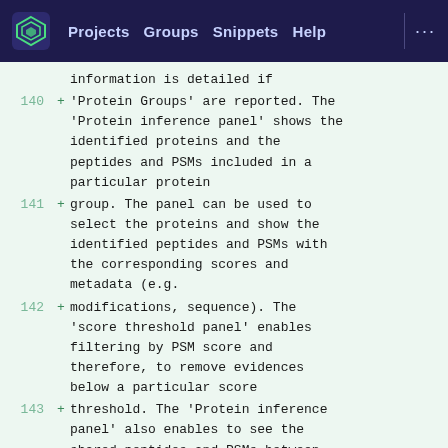Projects  Groups  Snippets  Help  ...
information is detailed if
140 + 'Protein Groups' are reported. The 'Protein inference panel' shows the identified proteins and the peptides and PSMs included in a particular protein
141 + group. The panel can be used to select the proteins and show the identified peptides and PSMs with the corresponding scores and metadata (e.g.
142 + modifications, sequence). The 'score threshold panel' enables filtering by PSM score and therefore, to remove evidences below a particular score
143 + threshold. The 'Protein inference panel' also enables to see the shared peptides and PSMs between the proteins that belong to a particular protein group